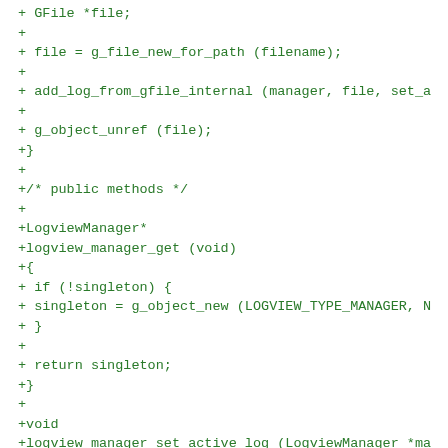+ GFile *file;
+
+ file = g_file_new_for_path (filename);
+
+ add_log_from_gfile_internal (manager, file, set_a
+
+ g_object_unref (file);
+}
+
+/* public methods */
+
+LogviewManager*
+logview_manager_get (void)
+{
+ if (!singleton) {
+ singleton = g_object_new (LOGVIEW_TYPE_MANAGER, N
+ }
+
+ return singleton;
+}
+
+void
+logview_manager_set_active_log (LogviewManager *ma
+ LogviewLog *log)
+{
+ LogviewLog *old_log = NULL;
+
+ g_assert (LOGVIEW_IS_MANAGER (manager));
+
+ if (manager->priv->active_log) {
+ old_log = manager->priv->active_log;